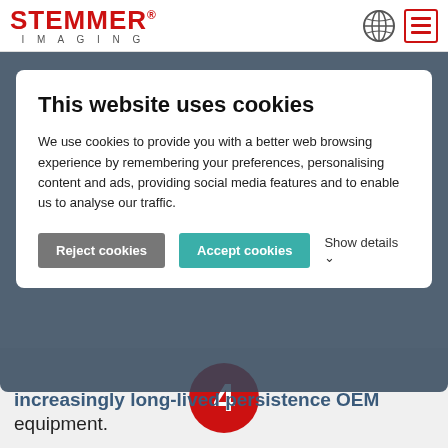[Figure (logo): STEMMER IMAGING logo with globe and hamburger menu icons in header]
This website uses cookies
We use cookies to provide you with a better web browsing experience by remembering your preferences, personalising content and ads, providing social media features and to enable us to analyse our traffic.
Reject cookies  Accept cookies  Show details
increasingly long-lived persistence OEM equipment.
[Figure (infographic): Red circle with white number 4 inside on grey background]